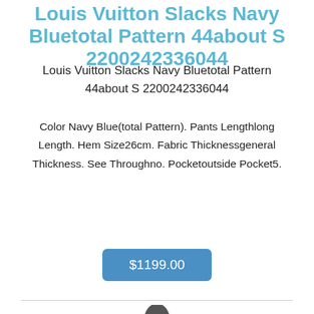Louis Vuitton Slacks Navy Bluetotal Pattern 44about S 2200242336044
Louis Vuitton Slacks Navy Bluetotal Pattern 44about S 2200242336044
Color Navy Blue(total Pattern). Pants Lengthlong Length. Hem Size26cm. Fabric Thicknessgeneral Thickness. See Throughno. Pocketoutside Pocket5.
$1199.00
[Figure (photo): Photo of a mannequin wearing a navy blue long-sleeve fitted top/shirt, shown from the torso up against a white background.]